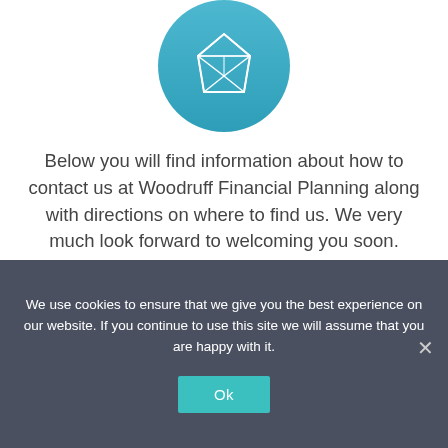[Figure (logo): Teal circular logo with white diamond/gem icon for Woodruff Financial Planning]
Below you will find information about how to contact us at Woodruff Financial Planning along with directions on where to find us. We very much look forward to welcoming you soon.
Start taking control of your future today...
We use cookies to ensure that we give you the best experience on our website. If you continue to use this site we will assume that you are happy with it.